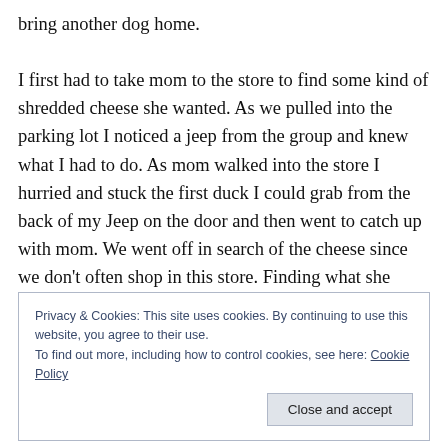bring another dog home.

I first had to take mom to the store to find some kind of shredded cheese she wanted. As we pulled into the parking lot I noticed a jeep from the group and knew what I had to do. As mom walked into the store I hurried and stuck the first duck I could grab from the back of my Jeep on the door and then went to catch up with mom. We went off in search of the cheese since we don't often shop in this store. Finding what she wanted, we headed out. I got her home and then decided that yes, I was going to go to
Privacy & Cookies: This site uses cookies. By continuing to use this website, you agree to their use.
To find out more, including how to control cookies, see here: Cookie Policy

[Close and accept]
I get in my Jeep, and I head out. I had looked up directions